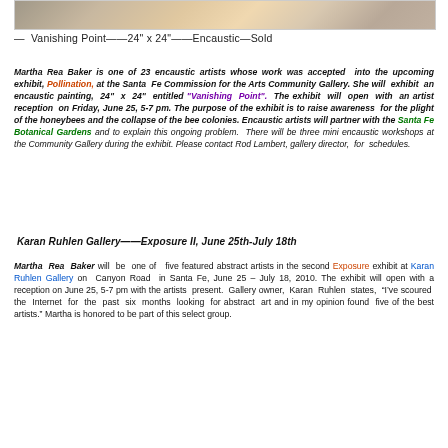[Figure (photo): Partial view of an encaustic painting showing soft pastel colors with abstract floral or organic forms.]
— Vanishing Point—4‒24" x 24"—Encaustic—Sold
Martha Rea Baker is one of 23 encaustic artists whose work was accepted into the upcoming exhibit, Pollination, at the Santa Fe Commission for the Arts Community Gallery. She will exhibit an encaustic painting, 24" x 24" entitled "Vanishing Point". The exhibit will open with an artist reception on Friday, June 25, 5-7 pm. The purpose of the exhibit is to raise awareness for the plight of the honeybees and the collapse of the bee colonies. Encaustic artists will partner with the Santa Fe Botanical Gardens and to explain this ongoing problem. There will be three mini encaustic workshops at the Community Gallery during the exhibit. Please contact Rod Lambert, gallery director, for schedules.
Karan Ruhlen Gallery—Exposure II, June 25th-July 18th
Martha Rea Baker will be one of five featured abstract artists in the second Exposure exhibit at Karan Ruhlen Gallery on Canyon Road in Santa Fe, June 25 – July 18, 2010. The exhibit will open with a reception on June 25, 5-7 pm with the artists present. Gallery owner, Karan Ruhlen states, “I’ve scoured the Internet for the past six months looking for abstract art and in my opinion found five of the best artists.” Martha is honored to be part of this select group.